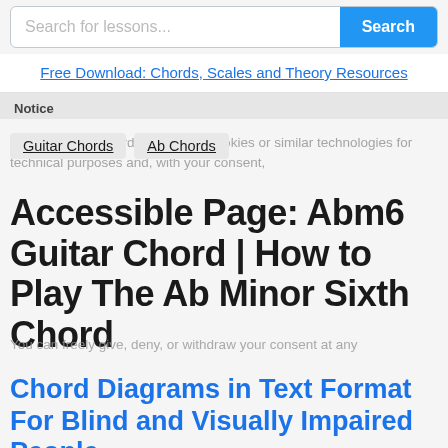Search for lessons...  Search
Free Download: Chords, Scales and Theory Resources
Notice
Guitar Chords
Ab Chords
Accessible Page: Abm6 Guitar Chord | How to Play The Ab Minor Sixth Chord
Chord Diagrams in Text Format For Blind and Visually Impaired People
This is an accessible, text-based page for the Ab m6 guitar chord, suitable for screen-reader software